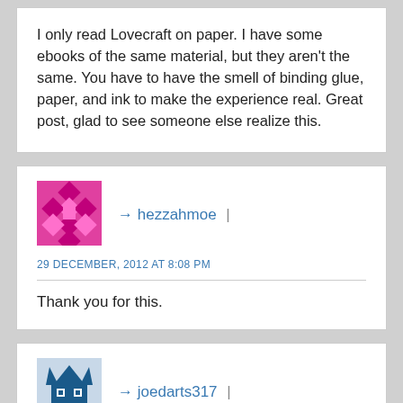I only read Lovecraft on paper. I have some ebooks of the same material, but they aren't the same. You have to have the smell of binding glue, paper, and ink to make the experience real. Great post, glad to see someone else realize this.
[Figure (illustration): Pink/magenta geometric pixel avatar for user hezzahmoe]
→ hezzahmoe  |
29 DECEMBER, 2012 AT 8:08 PM
Thank you for this.
[Figure (illustration): Blue/teal geometric pixel avatar for user joedarts317]
joedarts317  |